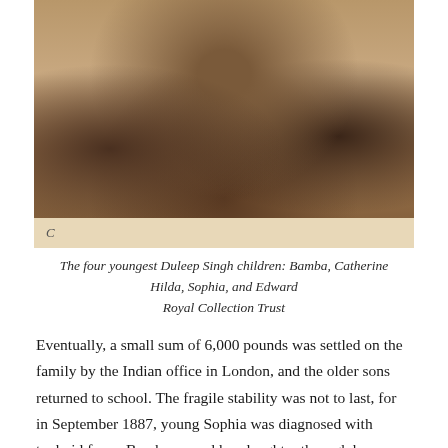[Figure (photo): Sepia-toned historical photograph of four young children, the four youngest Duleep Singh children, seated together. The image has a light-colored border at the bottom with cursive script text.]
The four youngest Duleep Singh children: Bamba, Catherine Hilda, Sophia, and Edward
Royal Collection Trust
Eventually, a small sum of 6,000 pounds was settled on the family by the Indian office in London, and the older sons returned to school. The fragile stability was not to last, for in September 1887, young Sophia was diagnosed with typhoid fever. Bamba nursed her daughter through her illness, sleeping on the floor in Sophia's room. During